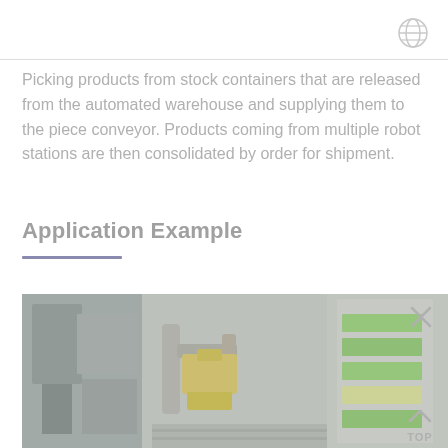Picking products from stock containers that are released from the automated warehouse and supplying them to the piece conveyor. Products coming from multiple robot stations are then consolidated by order for shipment.
Application Example
[Figure (photo): Industrial robot arm in a warehouse/automated logistics environment, showing robotic picking station with conveyor systems and yellow mechanical components.]